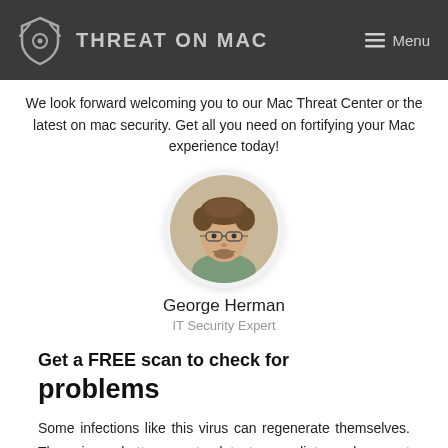THREAT ON MAC  Menu
We look forward welcoming you to our Mac Threat Center or the latest on mac security. Get all you need on fortifying your Mac experience today!
[Figure (photo): Circular profile photo of a man with curly hair and glasses, smiling]
George Herman
IT Security Expert
Get a FREE scan to check for problems
Some infections like this virus can regenerate themselves. There is no better way to detect, remediate and prevent malware infection than to use a